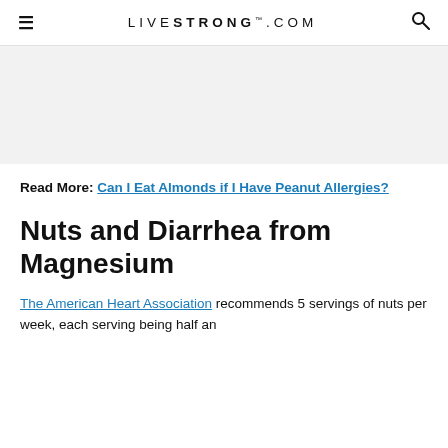LIVESTRONG.COM
[Figure (other): Advertisement / gray placeholder area]
Read More: Can I Eat Almonds if I Have Peanut Allergies?
Nuts and Diarrhea from Magnesium
The American Heart Association recommends 5 servings of nuts per week, each serving being half an